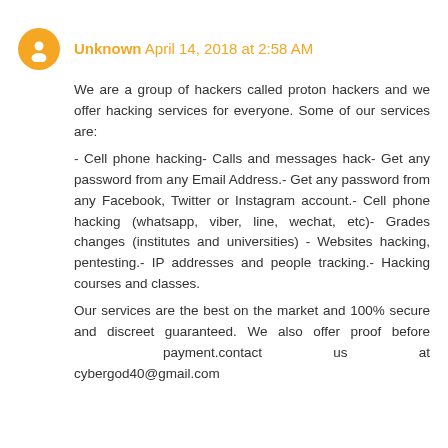Unknown April 14, 2018 at 2:58 AM
We are a group of hackers called proton hackers and we offer hacking services for everyone. Some of our services are: - Cell phone hacking- Calls and messages hack- Get any password from any Email Address.- Get any password from any Facebook, Twitter or Instagram account.- Cell phone hacking (whatsapp, viber, line, wechat, etc)- Grades changes (institutes and universities) - Websites hacking, pentesting.- IP addresses and people tracking.- Hacking courses and classes. Our services are the best on the market and 100% secure and discreet guaranteed. We also offer proof before payment.contact us at cybergod40@gmail.com